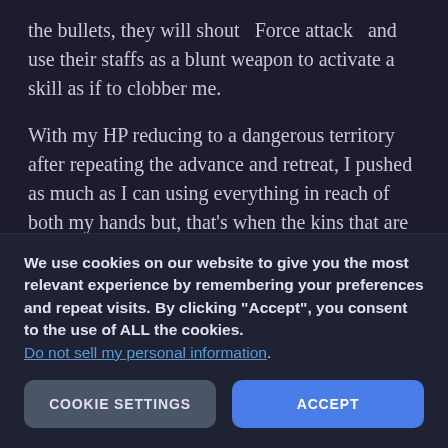the bullets, they will shout  Force attack  and use their staffs as a blunt weapon to activate a skill as if to clobber me.
With my HP reducing to a dangerous territory after repeating the advance and retreat, I pushed as much as I can using everything in reach of both my hands but, that's when the kins that are
We use cookies on our website to give you the most relevant experience by remembering your preferences and repeat visits. By clicking "Accept", you consent to the use of ALL the cookies. Do not sell my personal information.